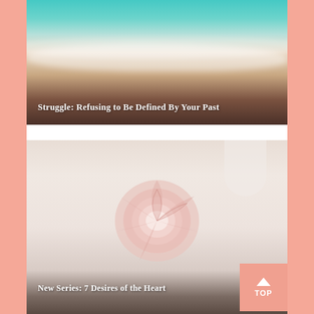[Figure (photo): Aerial view of ocean waves on sandy beach with turquoise water, sandy shore, and dark earth tones]
Struggle: Refusing to Be Defined By Your Past
[Figure (photo): Close-up of a pink and white ranunculus flower on a light background with a blurred cup in the top right corner]
New Series: 7 Desires of the Heart